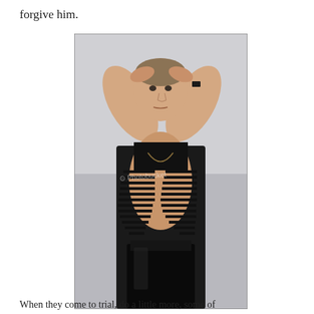forgive him.
[Figure (photo): A muscular man poses with hands on head, wearing a black shredded/cut-out sleeveless top and black pants, against a grey studio background. A Photobucket watermark is visible on the image.]
When they come to trial, do a little more, some of